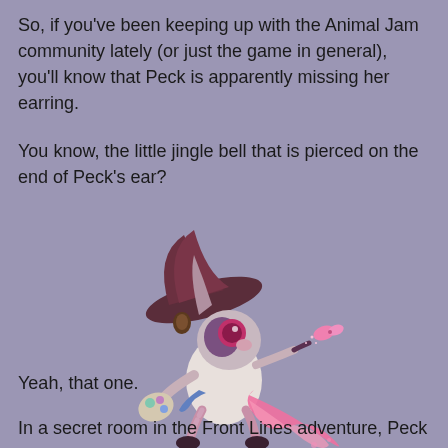So, if you've been keeping up with the Animal Jam community lately (or just the game in general), you'll know that Peck is apparently missing her earring.
You know, the little jingle bell that is pierced on the end of Peck's ear?
[Figure (illustration): Illustrated character 'Peck' from Animal Jam — a stylized purple bunny rabbit with long pink tail/scarf, holding an artist's palette, with a small pink butterfly nearby. The character wears a dark feathered hat and has pink glowing eyes.]
Yeah, that one.
In a secret room in the Front Lines adventure, Peck